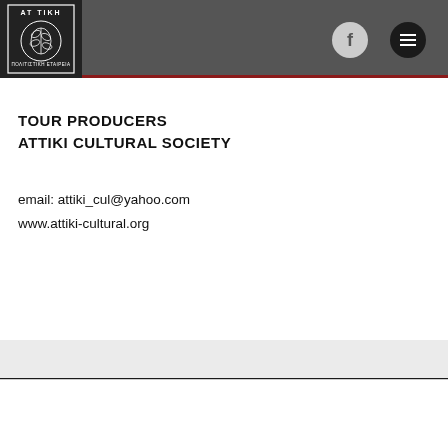TOUR PRODUCERS ATTIKI CULTURAL SOCIETY header bar with logo, Facebook button and menu button
[Figure (logo): Attiki Cultural Society logo: decorative circular emblem with Greek text AT TIKH and ΠΟΛΙΤΙΣΤΙΚΗ ΕΤΑΙΡΕΙΑ surrounding an olive branch illustration]
TOUR PRODUCERS
ATTIKI CULTURAL SOCIETY
email: attiki_cul@yahoo.com
www.attiki-cultural.org